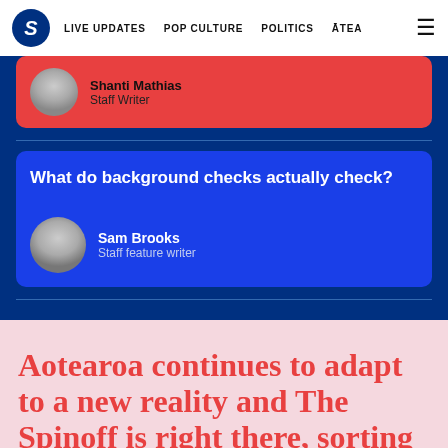S | LIVE UPDATES | POP CULTURE | POLITICS | ĀTEA
Shanti Mathias
Staff Writer
What do background checks actually check?
Sam Brooks
Staff feature writer
Aotearoa continues to adapt to a new reality and The Spinoff is right there, sorting fact from